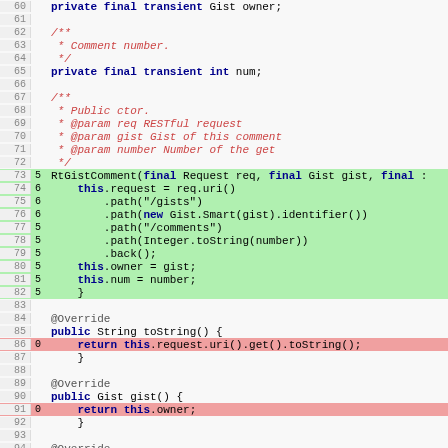[Figure (screenshot): Java source code viewer showing lines 60-96 with line numbers, coverage counts, and syntax highlighting. Lines 73-82 have green coverage background, lines 86 and 91 and 96 have red coverage background (0 hits).]